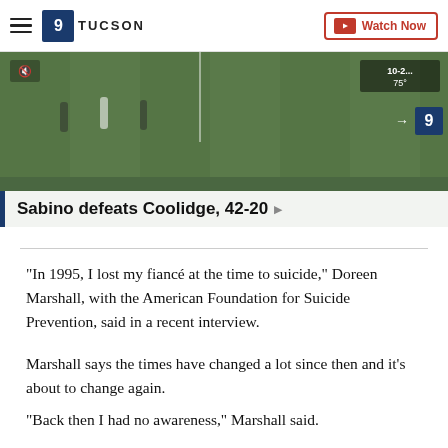9 TUCSON | Watch Now
[Figure (screenshot): Sports broadcast screenshot showing football game footage with overlay text 'Sabino defeats Coolidge, 42-20']
"In 1995, I lost my fiancé at the time to suicide," Doreen Marshall, with the American Foundation for Suicide Prevention, said in a recent interview.
Marshall says the times have changed a lot since then and it's about to change again.
"Back then I had no awareness," Marshall said.